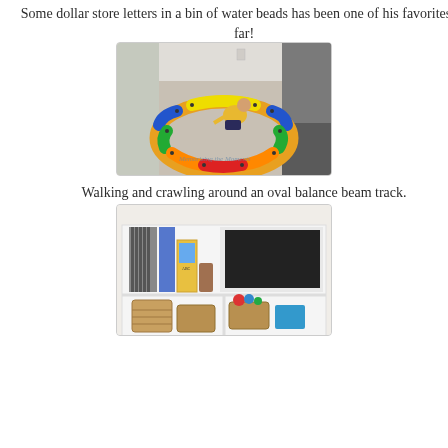Some dollar store letters in a bin of water beads has been one of his favorites so far!
[Figure (photo): A toddler in a yellow shirt crawling around an oval balance beam track made of colorful interlocking foam pieces on a carpeted floor. Watermark reads 'Memorizing the Moments'.]
Walking and crawling around an oval balance beam track.
[Figure (photo): A white shelving unit with various children's toys and learning materials organized on the shelves, including a ring stacker, marble run, baskets, books, and small containers.]